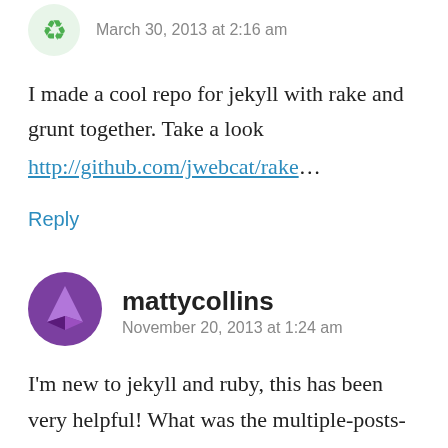[Figure (illustration): Green avatar icon (partial, cropped at top)]
March 30, 2013 at 2:16 am
I made a cool repo for jekyll with rake and grunt together. Take a look
http://github.com/jwebcat/rake…
Reply
[Figure (illustration): Purple avatar icon with triangle/gem shape]
mattycollins
November 20, 2013 at 1:24 am
I'm new to jekyll and ruby, this has been very helpful! What was the multiple-posts-a-day issue you ran into?